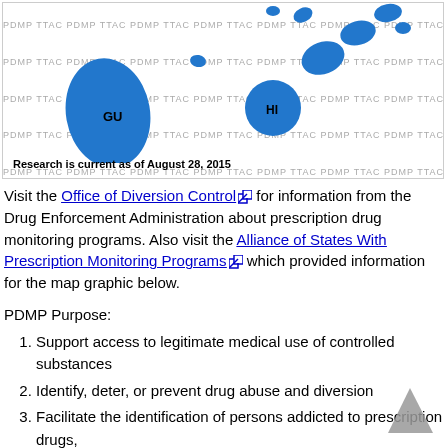[Figure (map): Partial US map showing Pacific island territories including Guam (GU) and Hawaii (HI) in blue, with PDMP TTAC watermark text repeated across the background]
Research is current as of August 28, 2015
Visit the Office of Diversion Control for information from the Drug Enforcement Administration about prescription drug monitoring programs. Also visit the Alliance of States With Prescription Monitoring Programs which provided information for the map graphic below.
PDMP Purpose:
Support access to legitimate medical use of controlled substances
Identify, deter, or prevent drug abuse and diversion
Facilitate the identification of persons addicted to prescription drugs,
Educate individuals about PDMPs and the use, abuse and